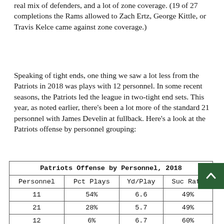real mix of defenders, and a lot of zone coverage. (19 of 27 completions the Rams allowed to Zach Ertz, George Kittle, or Travis Kelce came against zone coverage.)
Speaking of tight ends, one thing we saw a lot less from the Patriots in 2018 was plays with 12 personnel. In some recent seasons, the Patriots led the league in two-tight end sets. This year, as noted earlier, there's been a lot more of the standard 21 personnel with James Develin at fullback. Here's a look at the Patriots offense by personnel grouping:
| Personnel | Pct Plays | Yd/Play | Suc Rate |
| --- | --- | --- | --- |
| 11 | 54% | 6.6 | 49% |
| 21 | 28% | 5.7 | 49% |
| 12 | 6% | 6.7 | 60% |